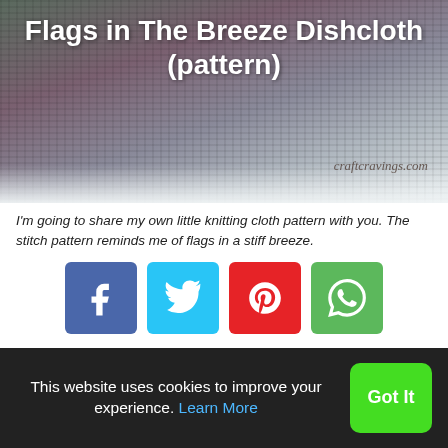[Figure (photo): Close-up photo of a knitted dishcloth in muted blue, grey, and purple tones, used as a hero banner image behind the page title.]
Flags in The Breeze Dishcloth (pattern)
craftcravings.com
I'm going to share my own little knitting cloth pattern with you. The stitch pattern reminds me of flags in a stiff breeze.
[Figure (infographic): Row of four social sharing buttons: Facebook (dark blue), Twitter (light blue), Pinterest (red), WhatsApp (green), each with their respective icons.]
I love knitting dishcloths, but I know a lot of knitters think it's silly. Why do I like them? Well, they're an almost instant gratification project and it's practical to boot. They're thick, durable and make doing dishes even prettier. Besides, I love
This website uses cookies to improve your experience. Learn More
Got It